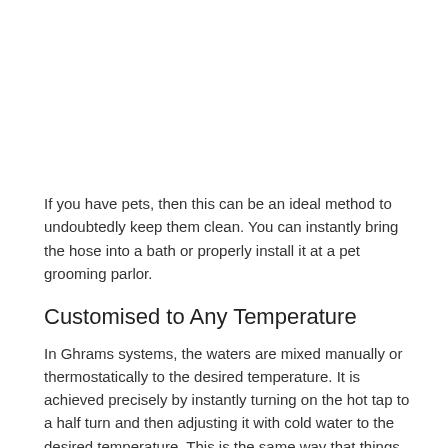If you have pets, then this can be an ideal method to undoubtedly keep them clean. You can instantly bring the hose into a bath or properly install it at a pet grooming parlor.
Customised to Any Temperature
In Ghrams systems, the waters are mixed manually or thermostatically to the desired temperature. It is achieved precisely by instantly turning on the hot tap to a half turn and then adjusting it with cold water to the desired temperature. This is the same way that things are typically done with a normal mixer block.